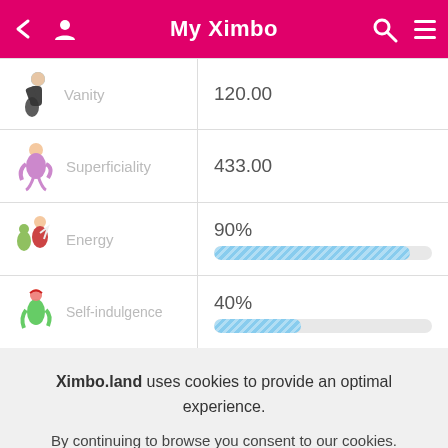My Ximbo
| Attribute | Value |
| --- | --- |
| Vanity | 120.00 |
| Superficiality | 433.00 |
| Energy | 90% |
| Self-indulgence | 40% |
Ximbo.land uses cookies to provide an optimal experience.
By continuing to browse you consent to our cookies.
OK
Learn More